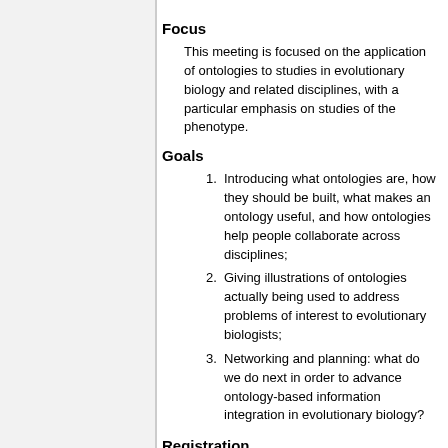Focus
This meeting is focused on the application of ontologies to studies in evolutionary biology and related disciplines, with a particular emphasis on studies of the phenotype.
Goals
Introducing what ontologies are, how they should be built, what makes an ontology useful, and how ontologies help people collaborate across disciplines;
Giving illustrations of ontologies actually being used to address problems of interest to evolutionary biologists;
Networking and planning: what do we do next in order to advance ontology-based information integration in evolutionary biology?
Registration
Registration will be open to attendees of